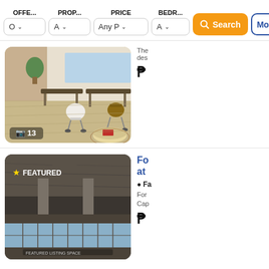OFFE...  PROP...  PRICE  BEDR...  Search  Mor...
[Figure (screenshot): Filter bar with dropdowns: OFFE... (O dropdown), PROP... (A dropdown), PRICE (Any P dropdown), BEDR... (A dropdown), orange Search button, and blue More button]
[Figure (photo): Interior photo of a modern office coworking space with wooden floors, white office chairs, desks, and a round coffee table. Photo count badge showing camera icon and '13'.]
The des
₱
[Figure (photo): Interior photo of a large empty commercial space with concrete ceiling, columns, and large windows. Features a FEATURED badge with star icon.]
Fo at
Fa
For Cap
₱